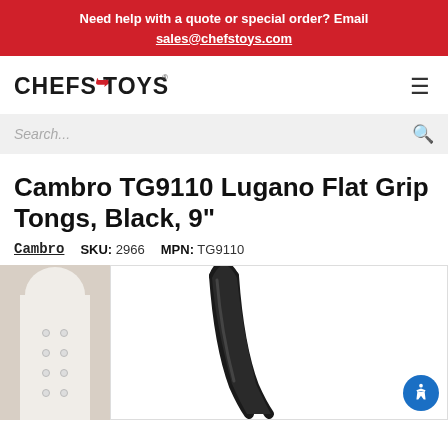Need help with a quote or special order? Email sales@chefstoys.com
[Figure (logo): Chefs Toys logo with red flame accent]
Search...
Cambro TG9110 Lugano Flat Grip Tongs, Black, 9"
Cambro  SKU: 2966  MPN: TG9110
[Figure (photo): Photo of black flat grip tongs (Cambro TG9110) on white background, alongside partial view of a chef in white uniform]